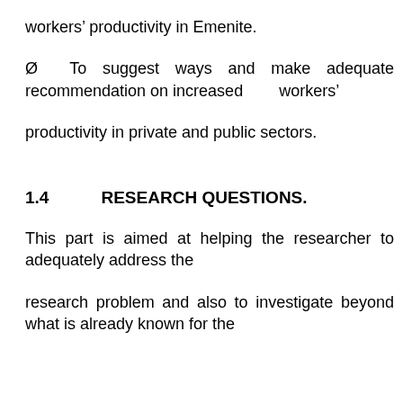workers’ productivity in Emenite.
Ø  To suggest ways and make adequate recommendation on increased      workers’ productivity in private and public sectors.
1.4          RESEARCH QUESTIONS.
This part is aimed at helping the researcher to adequately address the research problem and also to investigate beyond what is already known for the